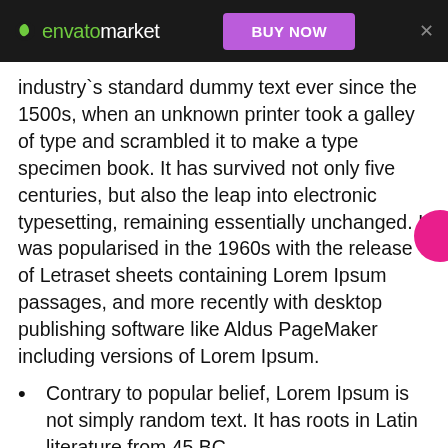envato market | BUY NOW | ×
industry`s standard dummy text ever since the 1500s, when an unknown printer took a galley of type and scrambled it to make a type specimen book. It has survived not only five centuries, but also the leap into electronic typesetting, remaining essentially unchanged. It was popularised in the 1960s with the release of Letraset sheets containing Lorem Ipsum passages, and more recently with desktop publishing software like Aldus PageMaker including versions of Lorem Ipsum.
Contrary to popular belief, Lorem Ipsum is not simply random text. It has roots in Latin literature from 45 BC.
There are many variations of passages of Lorem Ipsum available.